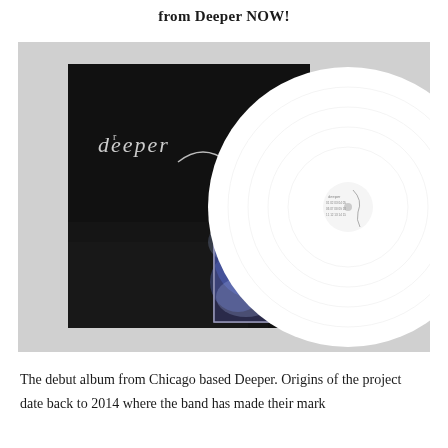from Deeper NOW!
[Figure (photo): Album cover and white vinyl record for Deeper's debut album. The album cover is a square black background with the word 'deeper' in gothic lettering at the top left, a wavy white line running across, and a rectangular photo insert in the lower center showing an abstract blue/purple image. To the right is a white vinyl record with small printed text and a line design.]
The debut album from Chicago based Deeper. Origins of the project date back to 2014 where the band has made their mark